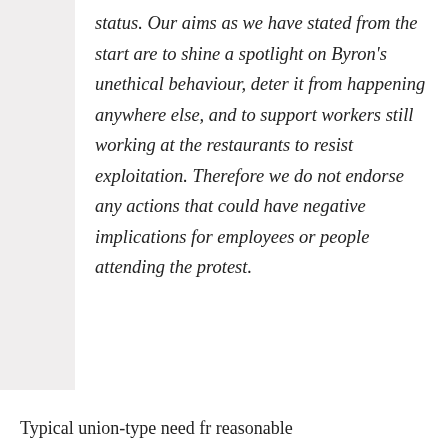status. Our aims as we have stated from the start are to shine a spotlight on Byron's unethical behaviour, deter it from happening anywhere else, and to support workers still working at the restaurants to resist exploitation. Therefore we do not endorse any actions that could have negative implications for employees or people attending the protest.
Typical union-type need fr reasonable